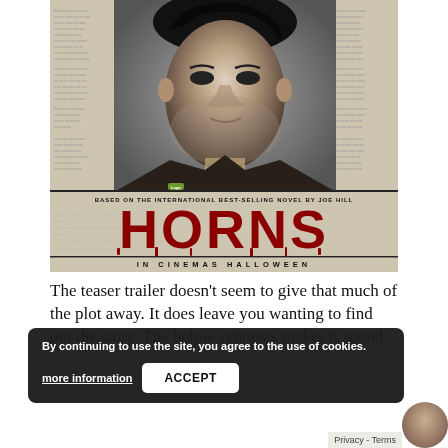[Figure (photo): Movie poster for 'Horns' film. Black and white photo of a young man (Daniel Radcliffe) against a newspaper background. Text reads 'BASED ON THE INTERNATIONAL BEST-SELLING NOVEL BY JOE HILL', 'HORNS' in large red dripping letters, and 'IN CINEMAS HALLOWEEN' at the bottom.]
The teaser trailer doesn't seem to give that much of the plot away. It does leave you wanting to find out the story. The below synopsis makes it sound
By continuing to use the site, you agree to the use of cookies.
more information
ACCEPT
Privacy - Terms